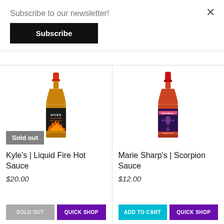Subscribe to our newsletter!
Subscribe
[Figure (photo): Kyle's Liquid Fire Hot Sauce bottle with red cap and dark label showing flames. 'Sold out' badge in lower left.]
[Figure (photo): Marie Sharp's Scorpion Sauce bottle with red cap and dark purple label with scorpion graphic.]
Kyle's | Liquid Fire Hot Sauce
$20.00
SOLD OUT
QUICK SHOP
Marie Sharp's | Scorpion Sauce
$12.00
ADD TO CART
QUICK SHOP